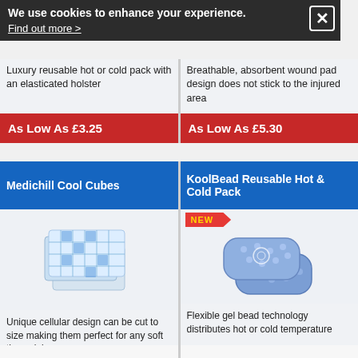We use cookies to enhance your experience.
Find out more >
Luxury reusable hot or cold pack with an elasticated holster
As Low As £3.25
Breathable, absorbent wound pad design does not stick to the injured area
As Low As £5.30
Medichill Cool Cubes
[Figure (photo): Medichill Cool Cubes product image - blue and white gel packs]
Unique cellular design can be cut to size making them perfect for any soft tissue injury
As Low As £0.29
KoolBead Reusable Hot & Cold Pack
[Figure (photo): KoolBead Reusable Hot & Cold Pack - blue gel bead packs with NEW banner]
Flexible gel bead technology distributes hot or cold temperature
As Low As £2.85